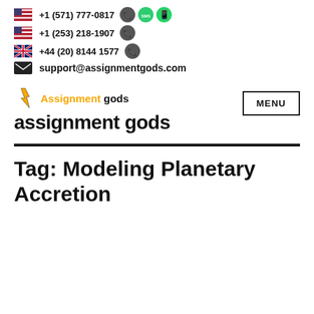+1 (571) 777-0817
+1 (253) 218-1907
+44 (20) 8144 1577
support@assignmentgods.com
[Figure (logo): Assignment gods logo with lightning bolt icon, yellow 'Assignment' text and dark 'gods' text]
assignment gods
Tag: Modeling Planetary Accretion